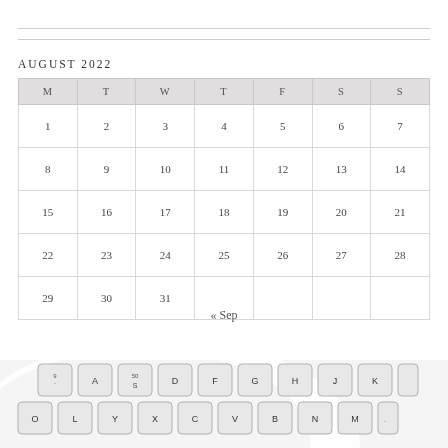AUGUST 2022
| M | T | W | T | F | S | S |
| --- | --- | --- | --- | --- | --- | --- |
| 1 | 2 | 3 | 4 | 5 | 6 | 7 |
| 8 | 9 | 10 | 11 | 12 | 13 | 14 |
| 15 | 16 | 17 | 18 | 19 | 20 | 21 |
| 22 | 23 | 24 | 25 | 26 | 27 | 28 |
| 29 | 30 | 31 |  |  |  |  |
« Sep
[Figure (photo): Partial view of a white/silver computer keyboard with keys visible including letters A, S, D, F, G, H, J, K, O, L, Y, X, C, V, B, N, M and others, on a white background with a subtle curved design element.]